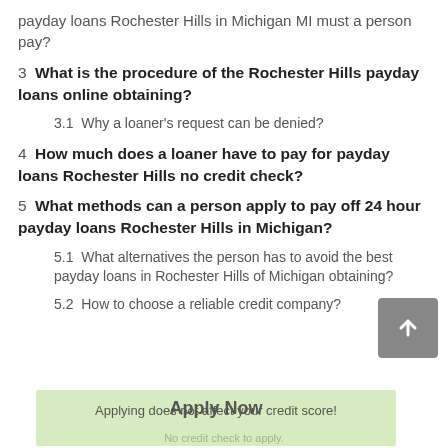payday loans Rochester Hills in Michigan MI must a person pay?
3  What is the procedure of the Rochester Hills payday loans online obtaining?
3.1  Why a loaner’s request can be denied?
4  How much does a loaner have to pay for payday loans Rochester Hills no credit check?
5  What methods can a person apply to pay off 24 hour payday loans Rochester Hills in Michigan?
5.1  What alternatives the person has to avoid the best payday loans in Rochester Hills of Michigan obtaining?
5.2  How to choose a reliable credit company?